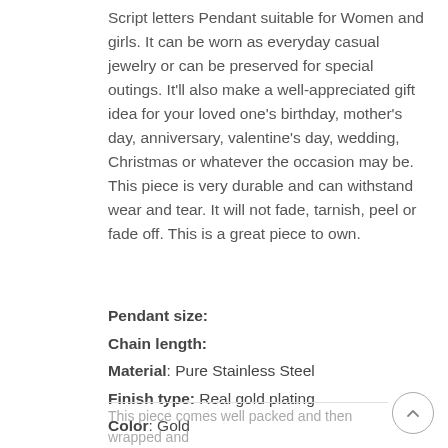Script letters Pendant suitable for Women and girls. It can be worn as everyday casual jewelry or can be preserved for special outings. It'll also make a well-appreciated gift idea for your loved one's birthday, mother's day, anniversary, valentine's day, wedding, Christmas or whatever the occasion may be. This piece is very durable and can withstand wear and tear. It will not fade, tarnish, peel or fade off. This is a great piece to own.
Pendant size:
Chain length:
Material: Pure Stainless Steel
Finish type: Real gold plating
Color: Gold
Weight: 3 grams
This piece comes well packed and then wrapped and